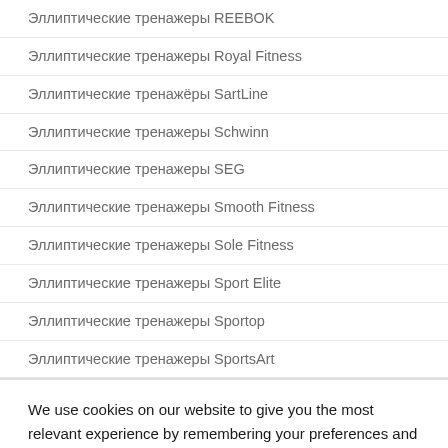Эллиптические тренажеры REEBOK
Эллиптические тренажеры Royal Fitness
Эллиптические тренажёры SartLine
Эллиптические тренажеры Schwinn
Эллиптические тренажеры SEG
Эллиптические тренажеры Smooth Fitness
Эллиптические тренажеры Sole Fitness
Эллиптические тренажеры Sport Elite
Эллиптические тренажеры Sportop
Эллиптические тренажеры SportsArt
We use cookies on our website to give you the most relevant experience by remembering your preferences and repeat visits. By clicking "Accept All", you consent to the use of ALL the cookies. However, you may visit "Cookie Settings" to provide a controlled consent.